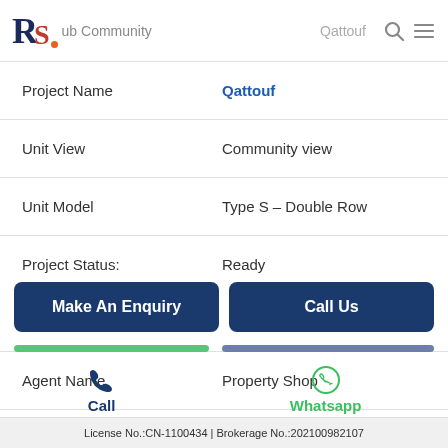RSHub Community | Qattouf
| Field | Value |
| --- | --- |
| Project Name | Qattouf |
| Unit View | Community view |
| Unit Model | Type S – Double Row |
| Project Status: | Ready |
| Developer Name: | ALDAR |
| Agent Name | Property Shop |
| Ref Number | VI28210 |
Make An Enquiry
Call Us
License No.:CN-1100434 | Brokerage No.:202100982107